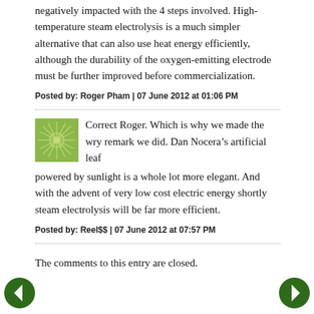negatively impacted with the 4 steps involved. High-temperature steam electrolysis is a much simpler alternative that can also use heat energy efficiently, although the durability of the oxygen-emitting electrode must be further improved before commercialization.
Posted by: Roger Pham | 07 June 2012 at 01:06 PM
Correct Roger. Which is why we made the wry remark we did. Dan Nocera’s artificial leaf powered by sunlight is a whole lot more elegant. And with the advent of very low cost electric energy shortly steam electrolysis will be far more efficient.
Posted by: Reel$$ | 07 June 2012 at 07:57 PM
The comments to this entry are closed.
[Figure (illustration): Green circular avatar with sunburst/leaf pattern]
[Figure (illustration): Left navigation arrow in dark green circle]
[Figure (illustration): Right navigation arrow in dark green circle]